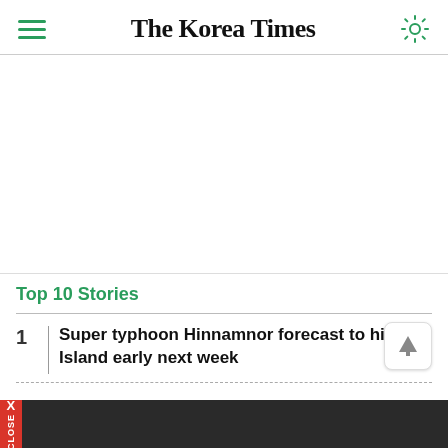The Korea Times
[Figure (other): Advertisement banner area (blank white space)]
Top 10 Stories
Super typhoon Hinnamnor forecast to hit Jeju Island early next week
Tired of outdated practices, church-related